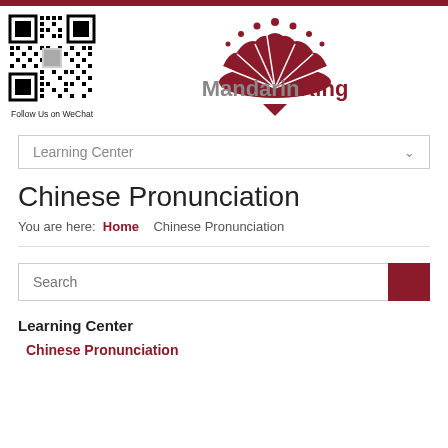[Figure (logo): MandarinKing logo with fan/crown shape in dark red above the text MandarinKing]
[Figure (other): QR code for WeChat follow]
Follow Us on WeChat
Learning Center
Chinese Pronunciation
You are here: Home Chinese Pronunciation
Search
Learning Center
Chinese Pronunciation